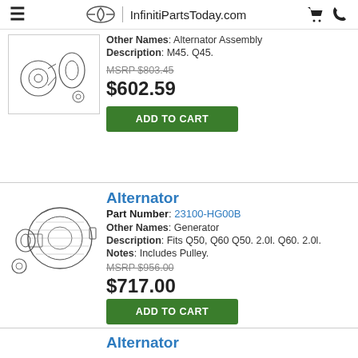InfinitiPartsToday.com
[Figure (illustration): Line drawing of alternator assembly with pulley components (partial, top of page)]
Other Names: Alternator Assembly
Description: M45. Q45.
MSRP $803.45
$602.59
ADD TO CART
Alternator
Part Number: 23100-HG00B
Other Names: Generator
Description: Fits Q50, Q60 Q50. 2.0l. Q60. 2.0l.
Notes: Includes Pulley.
MSRP $956.00
$717.00
ADD TO CART
Alternator